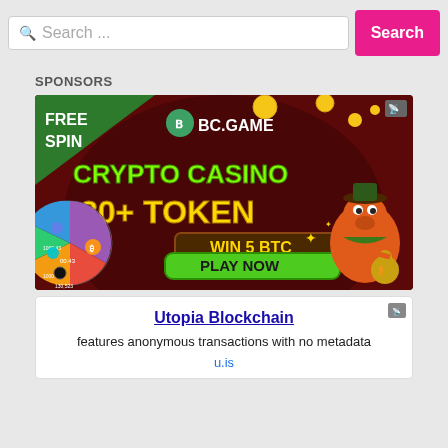[Figure (screenshot): Search bar with placeholder text 'Search ...' and a pink 'Search' button]
SPONSORS
[Figure (photo): BC.GAME crypto casino advertisement. Dark red background. Text reads: FREE SPIN, BC.GAME logo, CRYPTO CASINO 20+ TOKEN, WIN 5 BTC, PLAY NOW. Features a cartoon dinosaur character and a spinning prize wheel with coin values.]
[Figure (infographic): Utopia Blockchain text advertisement. Title: Utopia Blockchain (underlined blue link). Body text: features anonymous transactions with no metadata. URL: u.is]